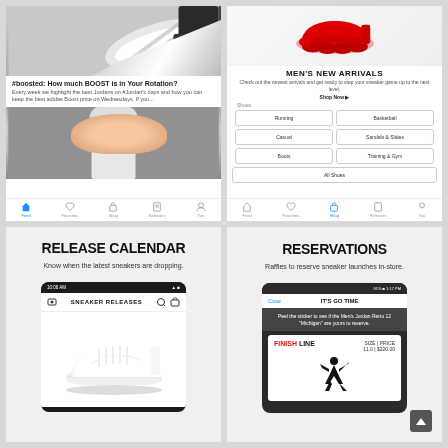[Figure (screenshot): Mobile app screenshot showing a blog/feed with sneaker images and text about #boosted Boost rotation, plus navigation bar with Feed, Favorites, Shop, Releases, You tabs]
[Figure (screenshot): Mobile app screenshot showing Men's New Arrivals page with a red Nike VaporMax shoe, category buttons for Running, Basketball, Casual, Sandals & Slides, Boots, Training & Gym, All Shoes, and bottom nav bar]
RELEASE CALENDAR
Know when the latest sneakers are dropping.
[Figure (screenshot): Mobile app screenshot showing Sneaker Releases page with a white Nike Air Force 1 shoe on white background]
RESERVATIONS
Raffles to reserve sneaker launches in-store.
[Figure (screenshot): Mobile app screenshot showing IT'S GO TIME reservation screen for Men's Jordan Retro 12 Michigan, with Finish Line branding, SIZE 11.0, PRICE $220.00, and Jordan Brand jumpman logo]